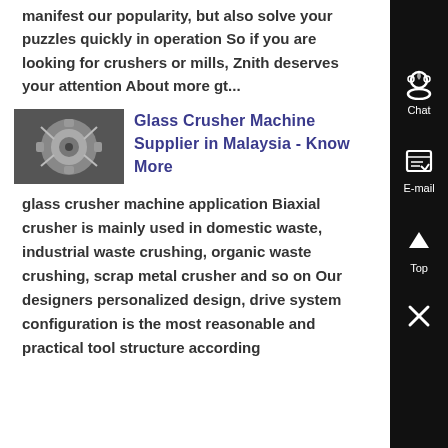manifest our popularity, but also solve your puzzles quickly in operation So if you are looking for crushers or mills, Znith deserves your attention About more gt...
[Figure (photo): Close-up photo of a glass crusher machine mechanical component, showing metallic rotating parts.]
Glass Crusher Machine Supplier in Malaysia - Know More
glass crusher machine application Biaxial crusher is mainly used in domestic waste, industrial waste crushing, organic waste crushing, scrap metal crusher and so on Our designers personalized design, drive system configuration is the most reasonable and practical tool structure according